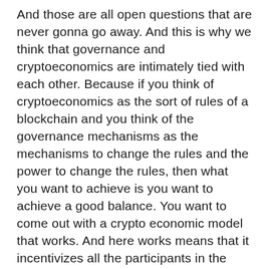And those are all open questions that are never gonna go away. And this is why we think that governance and cryptoeconomics are intimately tied with each other. Because if you think of cryptoeconomics as the sort of rules of a blockchain and you think of the governance mechanisms as the mechanisms to change the rules and the power to change the rules, then what you want to achieve is you want to achieve a good balance. You want to come out with a crypto economic model that works. And here works means that it incentivizes all the participants in the network to do what you want them to do, but you also want to make sure that you have the right mechanisms to allow the participants to change the rules in the future as they learn more about the network. As they learn more about themselves. So I look for networks that have both or at least teams that are building both of those values into the design of the protocol. Both sound crypto economic in the road for what to your is